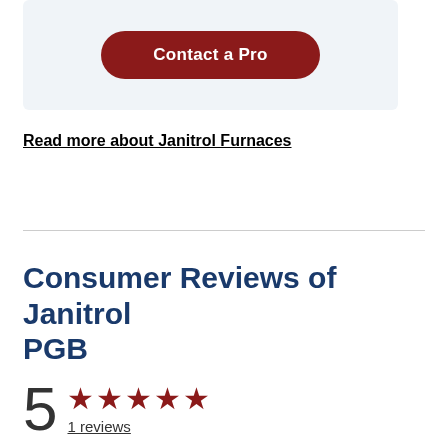[Figure (other): Light blue/grey box with a red rounded button labeled 'Contact a Pro']
Read more about Janitrol Furnaces
Consumer Reviews of Janitrol PGB
5 ★★★★★ 1 reviews